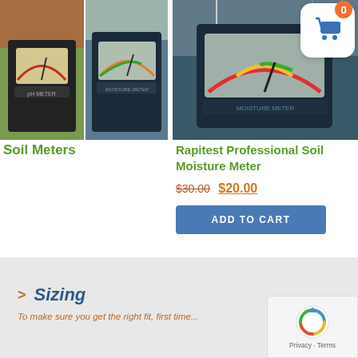[Figure (photo): Two soil meter product images side by side with colorful garden backgrounds]
Soil Meters
[Figure (photo): Rapitest Professional Soil Moisture Meter product photo with garden background and shopping cart badge overlay showing 0 items]
Rapitest Professional Soil Moisture Meter
$30.00  $20.00
ADD TO CART
> Sizing
To make sure you get the right fit, first time...